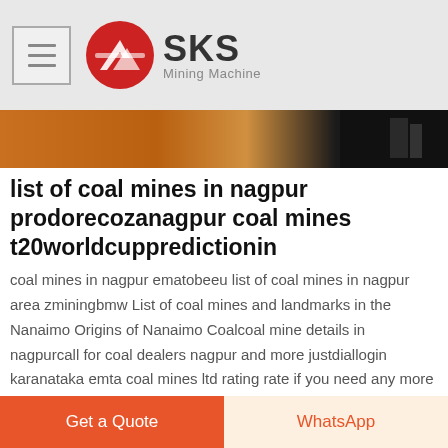SKS Mining Machine
[Figure (photo): Close-up photo of orange/brown mining machine equipment with dark background]
list of coal mines in nagpur prodorecozanagpur coal mines t20worldcuppredictionin
coal mines in nagpur ematobeeu list of coal mines in nagpur area zminingbmw List of coal mines and landmarks in the Nanaimo Origins of Nanaimo Coalcoal mine details in nagpurcall for coal dealers nagpur and more justdiallogin karanataka emta coal mines ltd rating rate if you need any more list of coal mines in nagpur area
GET PRICE
Get a Quote
WhatsApp